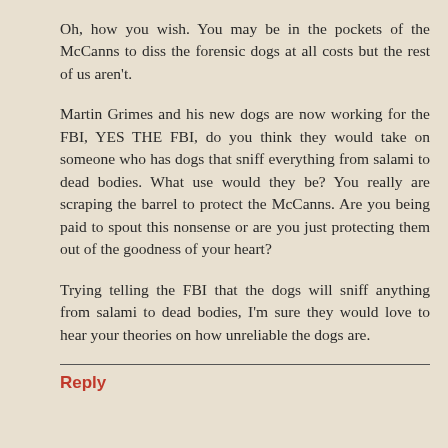Oh, how you wish. You may be in the pockets of the McCanns to diss the forensic dogs at all costs but the rest of us aren't.
Martin Grimes and his new dogs are now working for the FBI, YES THE FBI, do you think they would take on someone who has dogs that sniff everything from salami to dead bodies. What use would they be? You really are scraping the barrel to protect the McCanns. Are you being paid to spout this nonsense or are you just protecting them out of the goodness of your heart?
Trying telling the FBI that the dogs will sniff anything from salami to dead bodies, I'm sure they would love to hear your theories on how unreliable the dogs are.
Reply